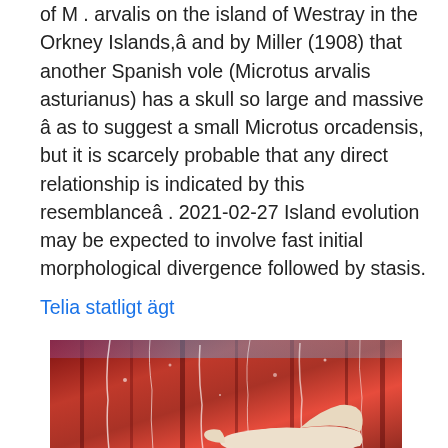of M . arvalis on the island of Westray in the Orkney Islands,â and by Miller (1908) that another Spanish vole (Microtus arvalis asturianus) has a skull so large and massive â as to suggest a small Microtus orcadensis, but it is scarcely probable that any direct relationship is indicated by this resemblanceâ . 2021-02-27 Island evolution may be expected to involve fast initial morphological divergence followed by stasis.
Telia statligt ägt
[Figure (photo): Photo showing white pointed-toe shoes or stilettos against a red abstract painted background with white paint streaks and drips]